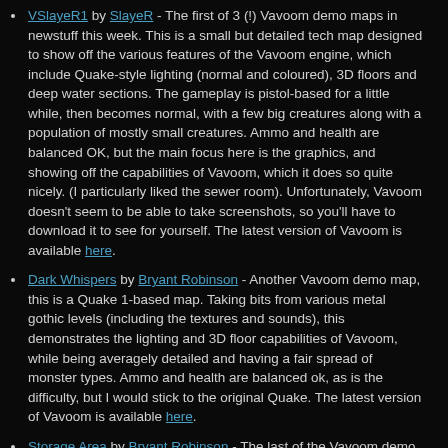VSlayeR1 by SlayeR - The first of 3 (!) Vavoom demo maps in newstuff this week. This is a small but detailed tech map designed to show off the various features of the Vavoom engine, which include Quake-style lighting (normal and coloured), 3D floors and deep water sections. The gameplay is pistol-based for a little while, then becomes normal, with a few big creatures along with a population of mostly small creatures. Ammo and health are balanced OK, but the main focus here is the graphics, and showing off the capabilities of Vavoom, which it does so quite nicely. (I particularly liked the sewer room). Unfortunately, Vavoom doesn't seem to be able to take screenshots, so you'll have to download it to see for yourself. The latest version of Vavoom is available here.
Dark Whispers by Bryant Robinson - Another Vavoom demo map, this is a Quake 1-based map. Taking bits from various metal gothic levels (including the textures and sounds), this demonstrates the lighting and 3D floor capabilities of Vavoom, while being averagely detailed and having a fair spread of monster types. Ammo and health are balanced ok, as is the difficulty, but I would stick to the original Quake. The latest version of Vavoom is available here.
Storage Area by Bryant Robinson - The last of the Vavoom demo...